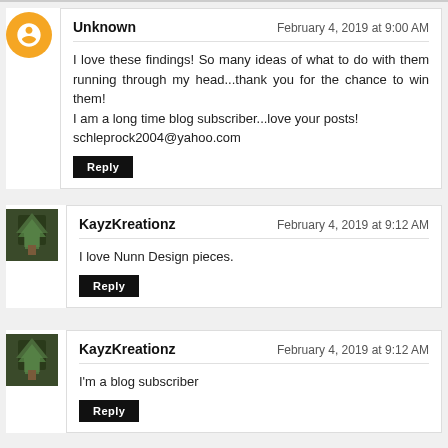Unknown — February 4, 2019 at 9:00 AM
I love these findings! So many ideas of what to do with them running through my head...thank you for the chance to win them!
I am a long time blog subscriber...love your posts!
schleprock2004@yahoo.com
Reply
KayzKreationz — February 4, 2019 at 9:12 AM
I love Nunn Design pieces.
Reply
KayzKreationz — February 4, 2019 at 9:12 AM
I'm a blog subscriber
Reply